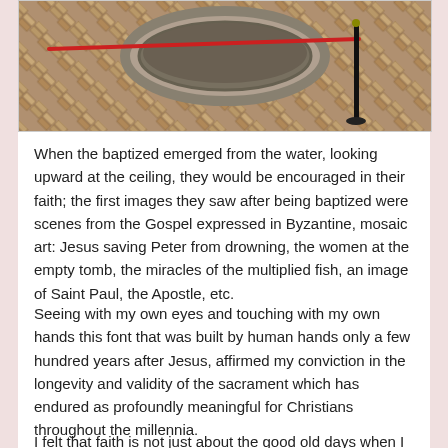[Figure (photo): Photo of an ancient stone baptismal font viewed from above, circular basin on a herringbone brick floor, with a red rope barrier and a black pole stand visible.]
When the baptized emerged from the water, looking upward at the ceiling, they would be encouraged in their faith; the first images they saw after being baptized were scenes from the Gospel expressed in Byzantine, mosaic art: Jesus saving Peter from drowning, the women at the empty tomb, the miracles of the multiplied fish, an image of Saint Paul, the Apostle, etc.
Seeing with my own eyes and touching with my own hands this font that was built by human hands only a few hundred years after Jesus, affirmed my conviction in the longevity and validity of the sacrament which has endured as profoundly meaningful for Christians throughout the millennia.
I felt that faith is not just about the good old days when I